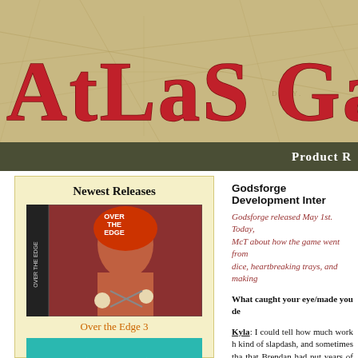[Figure (logo): Atlas Games banner logo with large red serif text 'AtLaS GaM' on aged parchment/map background]
PRODUCT R
Newest Releases
[Figure (photo): Over the Edge 3 game box cover featuring a woman with red hair and skulls]
Over the Edge 3
[Figure (photo): Godsforge game cover with teal/green swirling design and GODSFORGE text]
Godsforge Development Inter
Godsforge released May 1st. Today, McT about how the game went from dice, heartbreaking trays, and making
What caught your eye/made you de
Kyla: I could tell how much work h kind of slapdash, and sometimes tha that Brendan had put years of work the balance. We changed quite a bit element costs of the spells and creat a rich world and well-balanced card s
[Figure (screenshot): Godsforge game card showing Shadow Burden card with text 'Players can't gain life this round.' and number 3]
Was th obsesse Kyla: